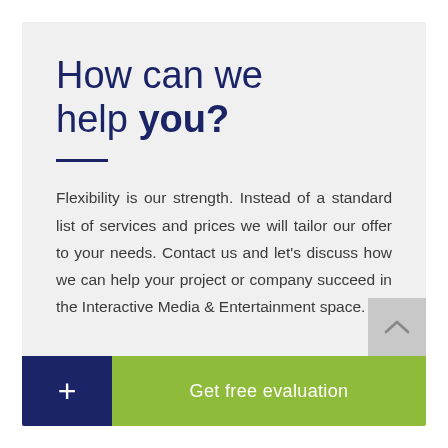How can we help you?
Flexibility is our strength. Instead of a standard list of services and prices we will tailor our offer to your needs. Contact us and let's discuss how we can help your project or company succeed in the Interactive Media & Entertainment space.
+ Get free evaluation